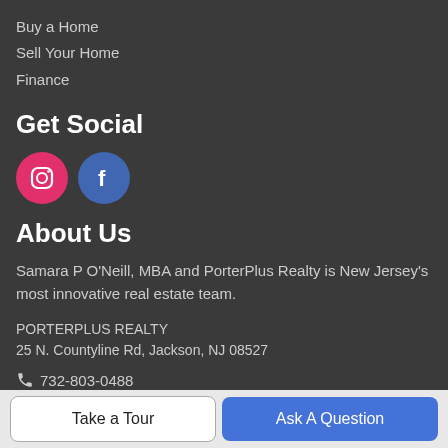Buy a Home
Sell Your Home
Finance
Get Social
[Figure (illustration): Instagram and Facebook social media icons — pink Instagram circle icon and blue Facebook circle icon]
About Us
Samara P O'Neill, MBA and PorterPlus Realty is New Jersey's most innovative real estate team.
PORTERPLUS REALTY
25 N. Countyline Rd, Jackson, NJ 08527
📞 732-803-0488
Take a Tour
Ask A Question